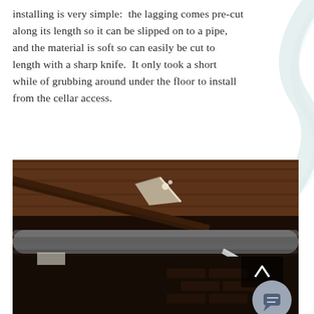installing is very simple:  the lagging comes pre-cut along its length so it can be slipped on to a pipe, and the material is soft so can easily be cut to length with a sharp knife.  It only took a short while of grubbing around under the floor to install from the cellar access.
[Figure (photo): A photo taken in a cellar/under-floor space showing insulated pipes (lagging) installed along wooden floor joists. A large grey foam-insulated pipe runs horizontally across the frame. Dark wood beams and brick walls are visible in the background. A scroll-up button and chat button UI overlay appear in the bottom-right corner of the image.]